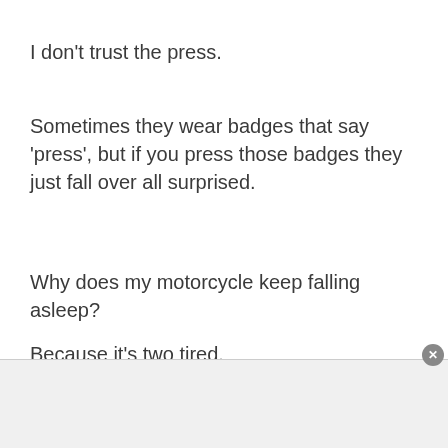I don't trust the press.
Sometimes they wear badges that say 'press', but if you press those badges they just fall over all surprised.
Why does my motorcycle keep falling asleep?
Because it's two tired.